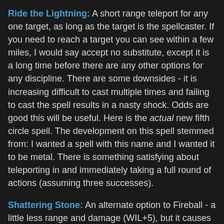Ride the Lightning: A short range teleport for any one target, as long as the target is the spellcaster. If you need to reach a target you can see within a few miles, I would say accept no substitute, except it is a long time before there are any other options for any discipline. There are some downsides - it is increasing difficult to cast multiple times and failing to cast the spell results in a nasty shock. Odds are good this will be useful. Here is the actual new fifth circle spell. The development on this spell stemmed from: I wanted a spell with this name and I wanted it to be metal. There is something satisfying about teleporting in and immediately taking a full round of actions (assuming three successes).
Shattering Stone: An alternate option to Fireball - a little less range and damage (WIL+5), but it causes knockdown instead of an action penalty. This is going to be more useful for crowd control and has some ugly synergy with other area control and denial spells. Two changes were made to this spell: a slight decrease in damage (was WIL+6) and includes a knockdown effect. This was done to give the spell a non-damaging control effect, making it more interesting, and have it potentially play with many of the other area